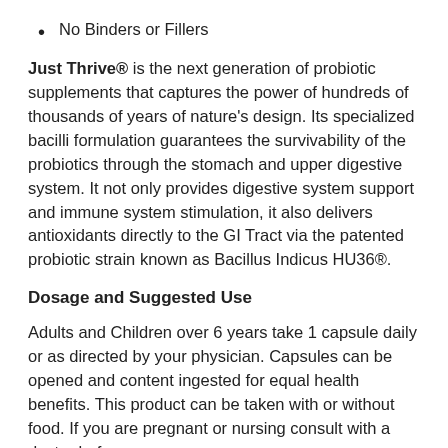No Binders or Fillers
Just Thrive® is the next generation of probiotic supplements that captures the power of hundreds of thousands of years of nature's design. Its specialized bacilli formulation guarantees the survivability of the probiotics through the stomach and upper digestive system. It not only provides digestive system support and immune system stimulation, it also delivers antioxidants directly to the GI Tract via the patented probiotic strain known as Bacillus Indicus HU36®.
Dosage and Suggested Use
Adults and Children over 6 years take 1 capsule daily or as directed by your physician. Capsules can be opened and content ingested for equal health benefits. This product can be taken with or without food. If you are pregnant or nursing consult with a doctor before use.